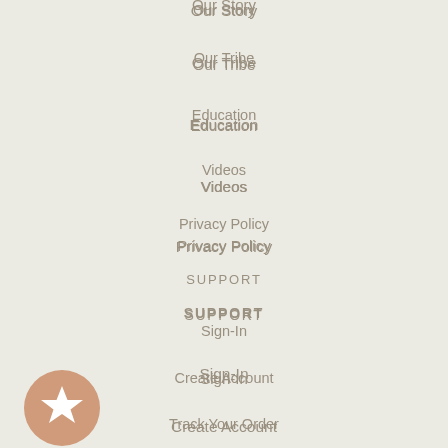Our Story
Our Tribe
Education
Videos
Privacy Policy
SUPPORT
Sign-In
Create Account
Track Your Order
Contact Us
Returns
Shipping Policy
CATEGORIES
Hair Color
[Figure (illustration): Tan/beige circle badge with a white star icon in the center, positioned at the bottom left of the page]